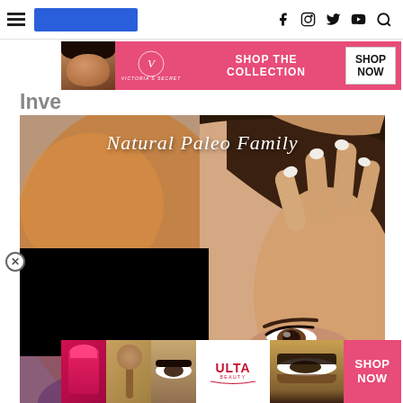[Figure (screenshot): Website navigation bar with hamburger menu, blue logo bar, and social media icons (Facebook, Instagram, Twitter, YouTube, Search)]
[Figure (screenshot): Victoria's Secret advertisement banner: woman with curly hair, VS logo, 'SHOP THE COLLECTION', 'SHOP NOW' button, pink background]
Inve
[Figure (photo): Natural Paleo Family blog header image showing close-up of woman's face and hand with white nail polish, brown hair. Script text reads 'Natural Paleo Family'. A black video/ad rectangle overlays the lower left. A circular close (X) button is visible. A CLOSE button appears bottom right.]
[Figure (screenshot): Ulta Beauty advertisement banner at bottom showing makeup images (red lipstick, brush, eye makeup, Ulta logo, eye makeup) with 'SHOP NOW' button on pink background]